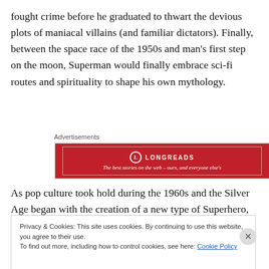fought crime before he graduated to thwart the devious plots of maniacal villains (and familiar dictators). Finally, between the space race of the 1950s and man's first step on the moon, Superman would finally embrace sci-fi routes and spirituality to shape his own mythology.
[Figure (other): Longreads advertisement banner: red background with Longreads logo and tagline 'The best stories on the web – ours, and everyone else's']
As pop culture took hold during the 1960s and the Silver Age began with the creation of a new type of Superhero,
Privacy & Cookies: This site uses cookies. By continuing to use this website, you agree to their use.
To find out more, including how to control cookies, see here: Cookie Policy